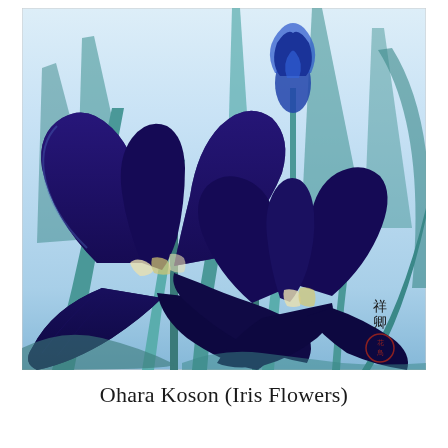[Figure (illustration): Japanese woodblock print by Ohara Koson depicting deep navy/indigo iris flowers (Iris ensata) with teal-green sword-like leaves against a pale blue-white graduated background. Three iris blooms are visible: two large dark navy blooms in the foreground and one smaller budding bloom in the middle ground. A Japanese seal/signature appears in the lower right corner.]
Ohara Koson (Iris Flowers)